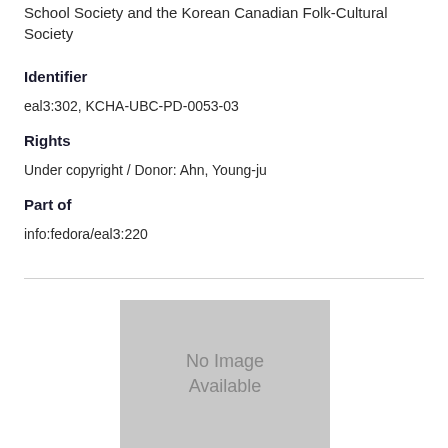School Society and the Korean Canadian Folk-Cultural Society
Identifier
eal3:302, KCHA-UBC-PD-0053-03
Rights
Under copyright / Donor: Ahn, Young-ju
Part of
info:fedora/eal3:220
[Figure (other): No Image Available placeholder box with grey background]